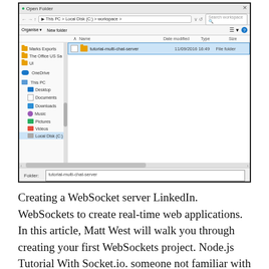[Figure (screenshot): Windows 10 'Open Folder' dialog showing a file browser with a folder named 'tutorial-multi-chat-server' selected. The left navigation panel shows Marks Exports, The Office US Sa..., UI, OneDrive, This PC, Desktop, Documents, Downloads, Music, Pictures, Videos, Local Disk (C:). The main pane shows the folder entry with date 11/09/2016 16:49, type File folder. At the bottom is a Folder input field with 'tutorial-multi-chat-server' and buttons 'Select Folder' and 'Cancel'.]
Creating a WebSocket server LinkedIn. WebSockets to create real-time web applications. In this article, Matt West will walk you through creating your first WebSockets project. Node.js Tutorial With Socket.io. someone not familiar with node.js and the protocol for